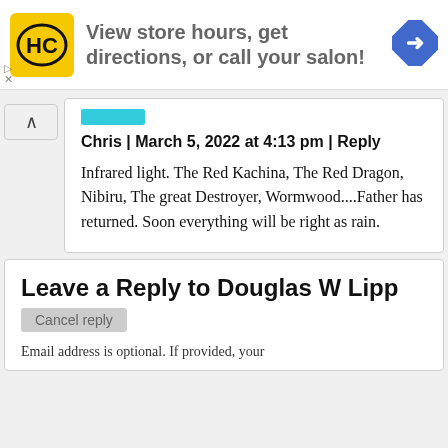[Figure (infographic): Advertisement banner: HC logo (yellow background), text 'View store hours, get directions, or call your salon!', blue diamond navigation arrow icon]
Chris | March 5, 2022 at 4:13 pm | Reply
Infrared light. The Red Kachina, The Red Dragon, Nibiru, The great Destroyer, Wormwood....Father has returned. Soon everything will be right as rain.
Leave a Reply to Douglas W Lipp
Cancel reply
Email address is optional. If provided, your